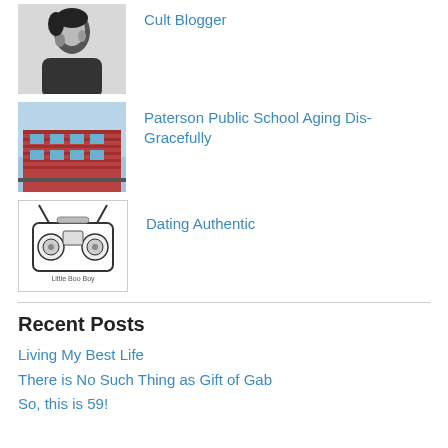[Figure (photo): Black and white photo of a person]
Cult Blogger
[Figure (photo): Photo of a red brick school building]
Paterson Public School Aging Dis-Gracefully
[Figure (illustration): Illustration of a boombox/radio with text Little Boo Boy]
Dating Authentic
Recent Posts
Living My Best Life
There is No Such Thing as Gift of Gab
So, this is 59!